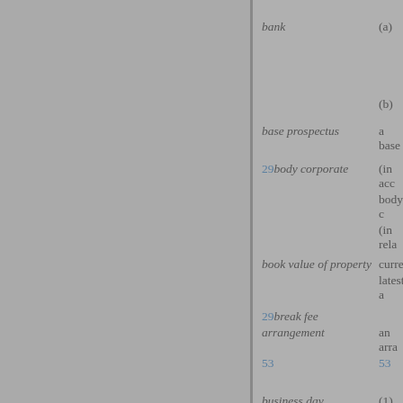bank (a)
(b)
base prospectus a base
29body corporate (in acco body c (in rela
book value of property curren latest a
29break fee arrangement an arra 53 53
business day (1)
(2)